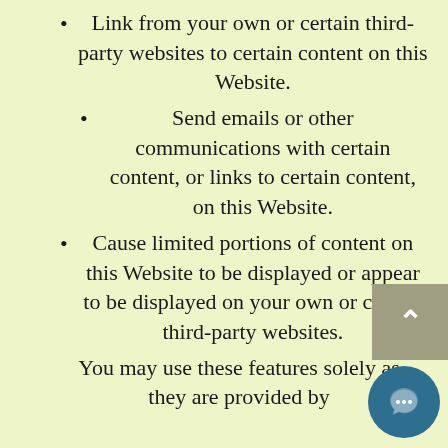Link from your own or certain third-party websites to certain content on this Website.
Send emails or other communications with certain content, or links to certain content, on this Website.
Cause limited portions of content on this Website to be displayed or appear to be displayed on your own or certain third-party websites.
You may use these features solely as they are provided by